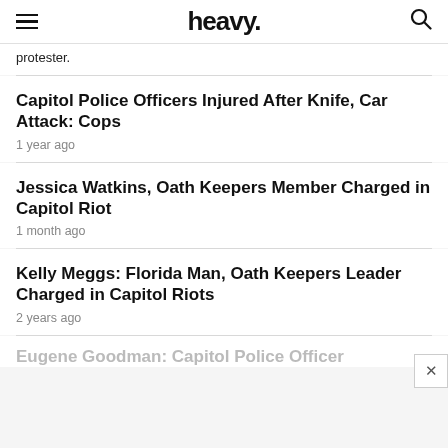heavy.
protester.
Capitol Police Officers Injured After Knife, Car Attack: Cops
1 year ago
Jessica Watkins, Oath Keepers Member Charged in Capitol Riot
1 month ago
Kelly Meggs: Florida Man, Oath Keepers Leader Charged in Capitol Riots
2 years ago
Eugene Goodman: Capitol Police Officer